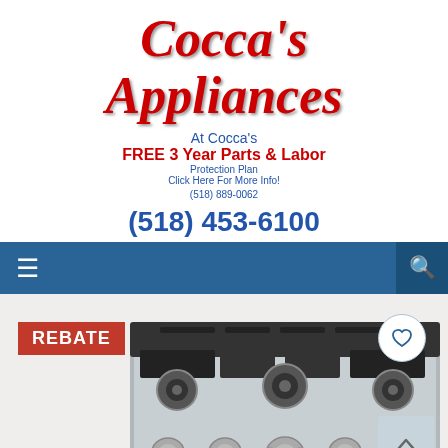Cocca's Appliances
At Cocca's
FREE 3 Year Parts & Labor
Protection Plan
Click Here For More Info!
(518) 889-0062
(518) 453-6100
[Figure (screenshot): Blue navigation bar with hamburger menu icon on left and search icon on right]
[Figure (photo): Stainless steel gas range cooktop with 4 burners and griddle, shown from above/front angle, with REBATE badge overlay, heart wishlist button, and scroll-to-top button]